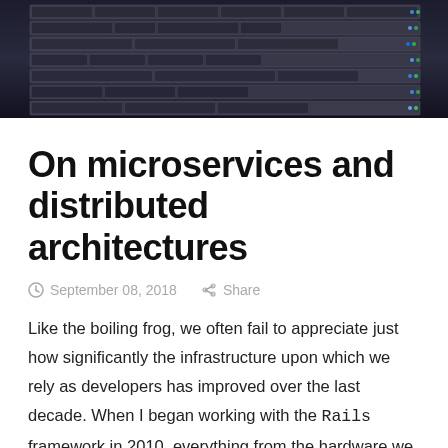[Figure (photo): Server rack hardware photo, dark background with blue and green indicator lights on rack-mounted servers]
On microservices and distributed architectures
September 08, 2018   Share
Like the boiling frog, we often fail to appreciate just how significantly the infrastructure upon which we rely as developers has improved over the last decade. When I began working with the Rails framework in 2010, everything from the hardware we used for local development, to the infrastructure upon which we tested and deployed, was positively anemic by today's